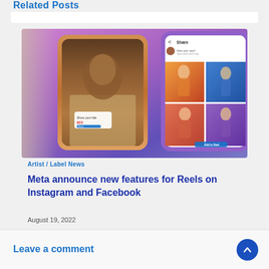Related Posts
[Figure (screenshot): Two smartphone screens showing social media reels and photo grid interfaces against a colorful gradient background]
Artist / Label News
Meta announce new features for Reels on Instagram and Facebook
August 19, 2022
Leave a comment